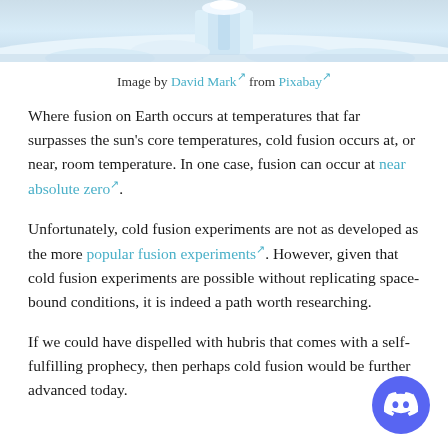[Figure (photo): Snowy winter scene with ice or snow structures against a light blue/white background]
Image by David Mark from Pixabay
Where fusion on Earth occurs at temperatures that far surpasses the sun's core temperatures, cold fusion occurs at, or near, room temperature. In one case, fusion can occur at near absolute zero.
Unfortunately, cold fusion experiments are not as developed as the more popular fusion experiments. However, given that cold fusion experiments are possible without replicating space-bound conditions, it is indeed a path worth researching.
If we could have dispelled with hubris that comes with a self-fulfilling prophecy, then perhaps cold fusion would be further advanced today.